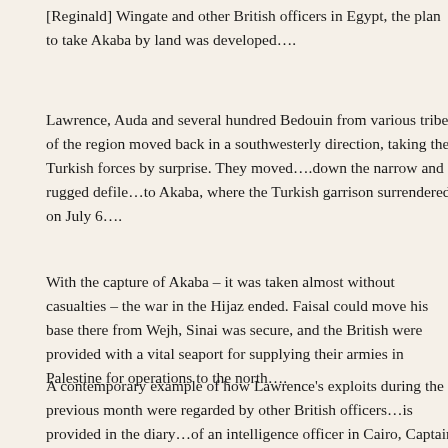[Reginald] Wingate and other British officers in Egypt, the plan to take Akaba by land was developed….
Lawrence, Auda and several hundred Bedouin from various tribes of the region moved back in a southwesterly direction, taking the Turkish forces by surprise. They moved….down the narrow and rugged defile…to Akaba, where the Turkish garrison surrendered on July 6….
With the capture of Akaba – it was taken almost without casualties – the war in the Hijaz ended. Faisal could move his base there from Wejh, Sinai was secure, and the British were provided with a vital seaport for supplying their armies in Palestine for operations to the north….
A contemporary example of how Lawrence's exploits during the previous month were regarded by other British officers…is provided in the diary…of an intelligence officer in Cairo, Captain Orlo Williams, who wrote four days after the capture of Akaba: